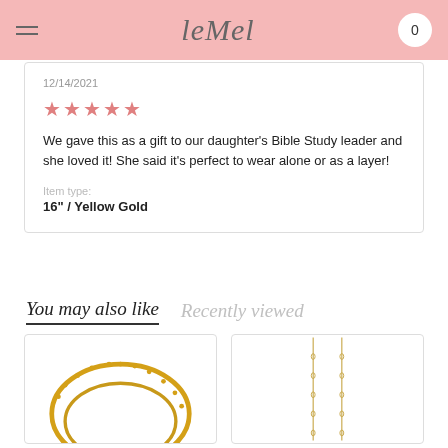leMel — 0
12/14/2021
★★★★★
We gave this as a gift to our daughter's Bible Study leader and she loved it!  She said it's perfect to wear alone or as a layer!
Item type:
16" / Yellow Gold
You may also like   Recently viewed
[Figure (photo): Photo of gold beaded necklace layered set]
[Figure (photo): Photo of thin gold chain necklace]